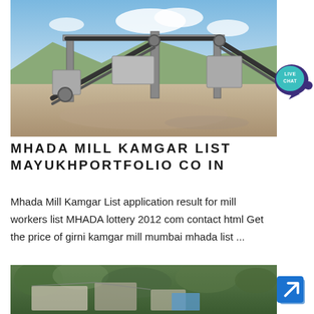[Figure (photo): Industrial mining or crushing equipment with conveyor belts on a dry landscape with mountains and blue sky in background]
[Figure (other): Live Chat button — teal speech bubble with LIVE CHAT text in white]
MHADA MILL KAMGAR LIST MAYUKHPORTFOLIO CO IN
Mhada Mill Kamgar List application result for mill workers list MHADA lottery 2012 com contact html Get the price of girni kamgar mill mumbai mhada list ...
[Figure (photo): Aerial or overhead view of industrial equipment or machinery surrounded by green trees and terrain]
[Figure (other): Blue square button with white arrow pointing upper-right (share/navigate icon)]